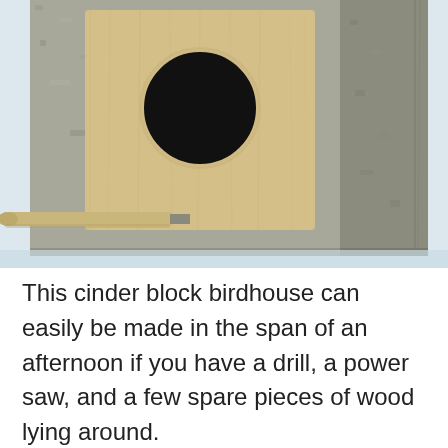[Figure (photo): Close-up photograph of a cinder block birdhouse. A light-colored natural wood panel with a circular hole (entry hole) is set into the front face of a rough concrete/cinder block. A wooden dowel perch protrudes from the lower-left area of the block. The background is a light blue-grey.]
This cinder block birdhouse can easily be made in the span of an afternoon if you have a drill, a power saw, and a few spare pieces of wood lying around.